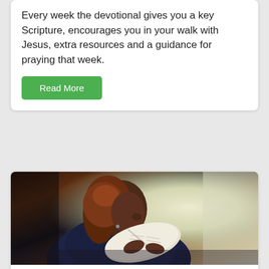Every week the devotional gives you a key Scripture, encourages you in your walk with Jesus, extra resources and a guidance for praying that week.
Read More
[Figure (photo): A young woman with reddish-brown hair reading an open Bible or book, photographed in profile from behind/side against a soft light background]
30 Day Next Steps
John Beckett, a leading Christian businessman, has written a series to read over 30 days for new believers